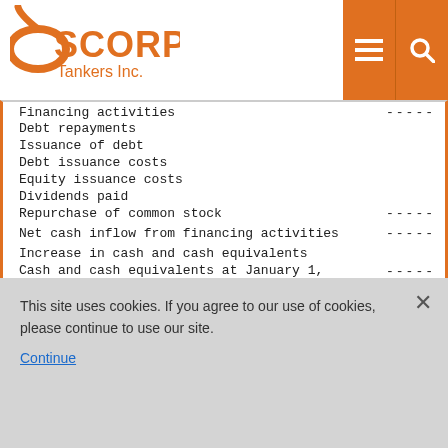Scorpio Tankers Inc.
| Financing activities | ----- |
| Debt repayments |  |
| Issuance of debt |  |
| Debt issuance costs |  |
| Equity issuance costs |  |
| Dividends paid |  |
| Repurchase of common stock | ----- |
| Net cash inflow from financing activities | ----- |
| Increase in cash and cash equivalents |  |
| Cash and cash equivalents at January 1, | ----- |
This site uses cookies. If you agree to our use of cookies, please continue to use our site.
Continue